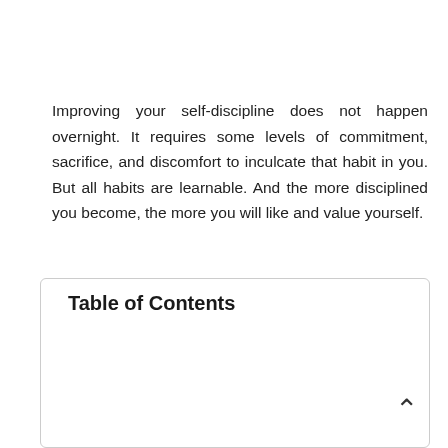Improving your self-discipline does not happen overnight. It requires some levels of commitment, sacrifice, and discomfort to inculcate that habit in you. But all habits are learnable. And the more disciplined you become, the more you will like and value yourself.
Table of Contents